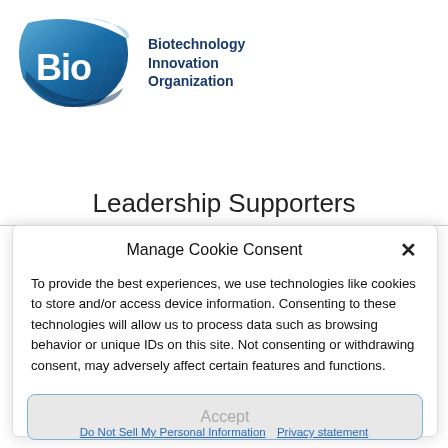[Figure (logo): BIO – Biotechnology Innovation Organization logo: blue leaf/globe graphic with 'Bio' in white bold text, and 'Biotechnology Innovation Organization' in dark blue text to the right]
Leadership Supporters
Manage Cookie Consent
To provide the best experiences, we use technologies like cookies to store and/or access device information. Consenting to these technologies will allow us to process data such as browsing behavior or unique IDs on this site. Not consenting or withdrawing consent, may adversely affect certain features and functions.
Accept
Do Not Sell My Personal Information   Privacy statement